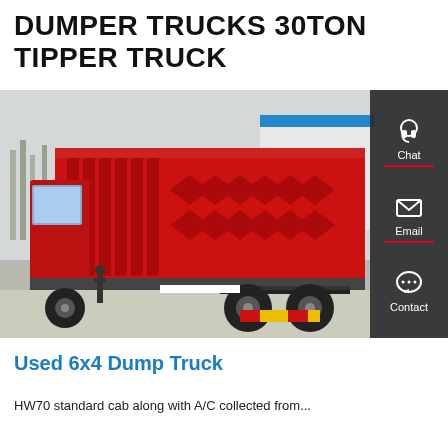DUMPER TRUCKS 30TON TIPPER TRUCK
[Figure (photo): Red 6x4 dump/tipper truck with raised dump body, photographed from rear-left angle in a yard. Dark grey sidebar overlay on right edge with Chat, Email, and Contact icons.]
Used 6x4 Dump Truck
HW70 standard cab along with A/C collected from...